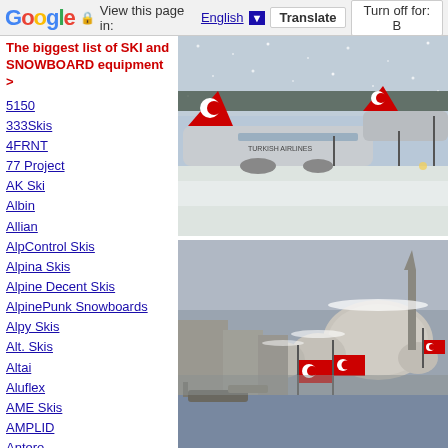Google  View this page in: English  Translate  Turn off for: B
The biggest list of SKI and SNOWBOARD equipment >
5150
333Skis
4FRNT
77 Project
AK Ski
Albin
Allian
AlpControl Skis
Alpina Skis
Alpine Decent Skis
AlpinePunk Snowboards
Alpy Skis
Alt. Skis
Altai
Aluflex
AME Skis
AMPLID
Antero
Anton Gliders
Antra Custom Skis
APO
Arbor
ARMADA
ARTificial. Skis
Artis
Artisan Skis
Asnes Skis
[Figure (photo): Turkish Airlines planes on snowy airport tarmac with snow falling]
[Figure (photo): Snow-covered Istanbul cityscape with mosque domes and Turkish flags]